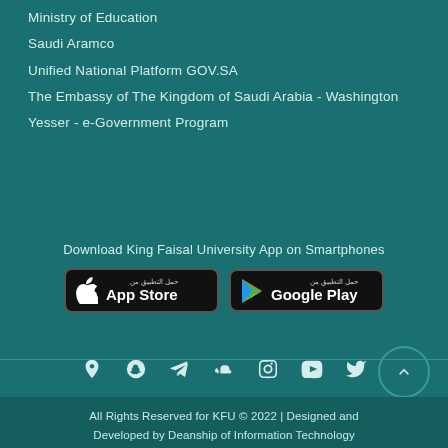Ministry of Education
Saudi Aramco
Unified National Platform GOV.SA
The Embassy of The Kingdom of Saudi Arabia - Washington
Yesser - e-Government Program
Download King Faisal University App on Smartphones
[Figure (screenshot): App Store and Google Play download buttons for King Faisal University app]
[Figure (infographic): Social media icons: location, Snapchat, Telegram, SoundCloud, Instagram, YouTube, Twitter]
[Figure (logo): HTML5, CSS3, and DigiCert badges]
All Rights Reserved for KFU © 2022 | Designed and Developed by Deanship of Information Technology